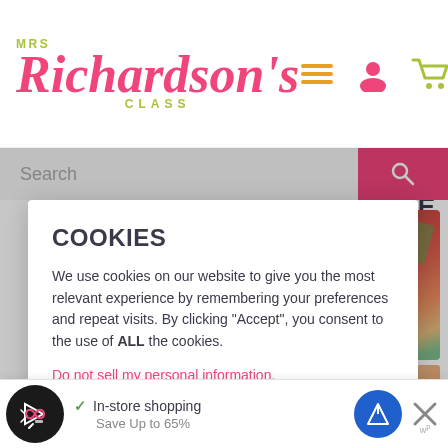[Figure (screenshot): Mrs Richardson's Class website logo with pink cursive text and green 'CLASS' subtitle, with hamburger menu, user icon, and shopping cart icons]
[Figure (screenshot): Search bar with pink search button on right]
F SERVICE
[Figure (photo): Pink hoodie product image on left, colorful fabric/crafts image on right]
COOKIES
We use cookies on our website to give you the most relevant experience by remembering your preferences and repeat visits. By clicking “Accept”, you consent to the use of ALL the cookies.
Do not sell my personal information.
Cookie Settings
Accept
[Figure (screenshot): Bottom ad bar with store shopping checkmark, navigation icons, and close button. Text: In-store shopping, Save Up to 65%]